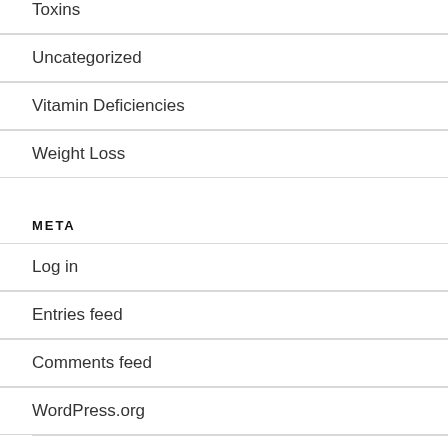Toxins
Uncategorized
Vitamin Deficiencies
Weight Loss
META
Log in
Entries feed
Comments feed
WordPress.org